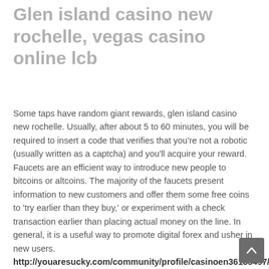Glen island casino new rochelle, vegas casino online lcb
Some taps have random giant rewards, glen island casino new rochelle. Usually, after about 5 to 60 minutes, you will be required to insert a code that verifies that you're not a robotic (usually written as a captcha) and you'll acquire your reward. Faucets are an efficient way to introduce new people to bitcoins or altcoins. The majority of the faucets present information to new customers and offer them some free coins to 'try earlier than they buy,' or experiment with a check transaction earlier than placing actual money on the line. In general, it is a useful way to promote digital forex and usher in new users.
http://youaresucky.com/community/profile/casinoen36185497/
"glen island park also offers picnic pavilions, and open picnic areas, boat launching, pathways, a catering hall and a restaurant, formerly glen island casino of big. Little germany, glen island, ny. Wear along edges of card and ink staining to top